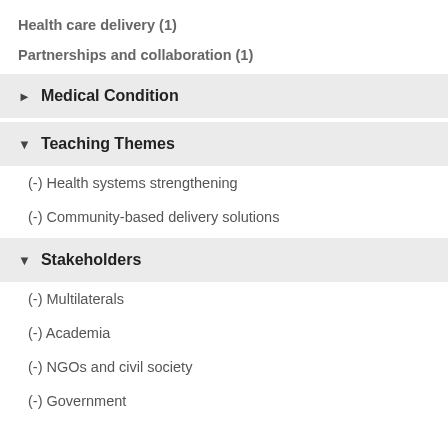Health care delivery (1)
Partnerships and collaboration (1)
▶ Medical Condition
▼ Teaching Themes
(-) Health systems strengthening
(-) Community-based delivery solutions
▼ Stakeholders
(-) Multilaterals
(-) Academia
(-) NGOs and civil society
(-) Government